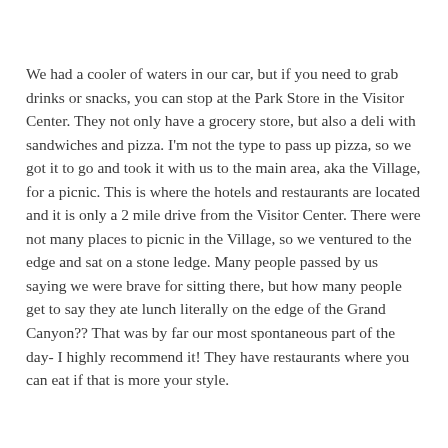We had a cooler of waters in our car, but if you need to grab drinks or snacks, you can stop at the Park Store in the Visitor Center. They not only have a grocery store, but also a deli with sandwiches and pizza. I'm not the type to pass up pizza, so we got it to go and took it with us to the main area, aka the Village, for a picnic. This is where the hotels and restaurants are located and it is only a 2 mile drive from the Visitor Center. There were not many places to picnic in the Village, so we ventured to the edge and sat on a stone ledge. Many people passed by us saying we were brave for sitting there, but how many people get to say they ate lunch literally on the edge of the Grand Canyon?? That was by far our most spontaneous part of the day- I highly recommend it! They have restaurants where you can eat if that is more your style.